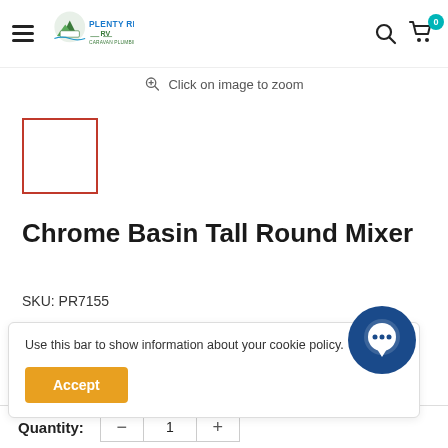Plenty River RV Caravan Plumbing — navigation bar with logo, search and cart icons
Click on image to zoom
[Figure (photo): Small thumbnail image box with red border (product image placeholder)]
Chrome Basin Tall Round Mixer
SKU: PR7155
Use this bar to show information about your cookie policy.
Accept
Quantity: — 1 +